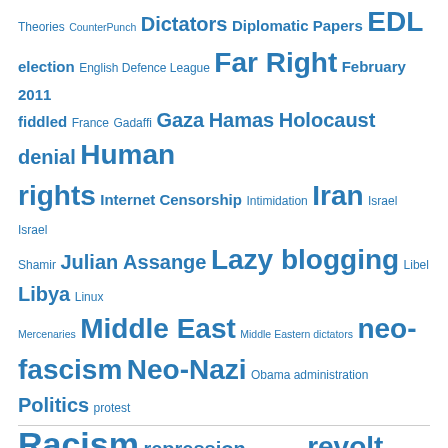[Figure (infographic): A tag cloud with blue-colored terms of varying sizes representing topics on a blog or website. Terms include: Theories, CounterPunch, Dictators, Diplomatic Papers, EDL, election, English Defence League, Far Right, February 2011, fiddled, France, Gadaffi, Gaza, Hamas, Holocaust denial, Human rights, Internet Censorship, Intimidation, Iran, Israel, Israel Shamir, Julian Assange, Lazy blogging, Libel, Libya, Linux, Mercenaries, Middle East, Middle Eastern dictators, neo-fascism, Neo-Nazi, Obama administration, Politics, protest, Racism, repression, Repressive, revolt, Revolts, Seismic Shock, Syria, Technology, The Guardian, Tories, Tory, UCU, UN, Unions, Western collusion, Western complacency, Western compliance, Wikileaks, YouTube]